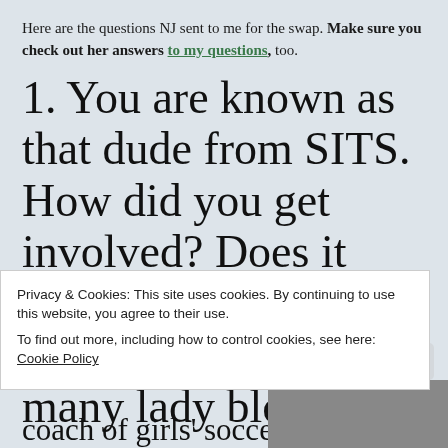Here are the questions NJ sent to me for the swap. Make sure you check out her answers to my questions, too.
1. You are known as that dude from SITS. How did you get involved? Does it feel funny to be so well loved by so many lady bloggers?
Privacy & Cookies: This site uses cookies. By continuing to use this website, you agree to their use.
To find out more, including how to control cookies, see here: Cookie Policy
coach of girls' soccer teams,